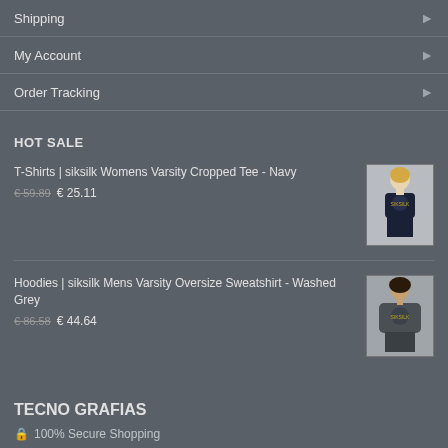Shipping
My Account
Order Tracking
HOT SALE
T-Shirts | siksilk Womens Varsity Cropped Tee - Navy
€ 59.89  € 25.11
[Figure (photo): Woman wearing a dark navy cropped graphic tee]
Hoodies | siksilk Mens Varsity Oversize Sweatshirt - Washed Grey
€ 86.58  € 44.64
[Figure (photo): Man wearing a dark grey graphic oversized sweatshirt]
TECNO GRAFIAS
🔒 100% Secure Shopping